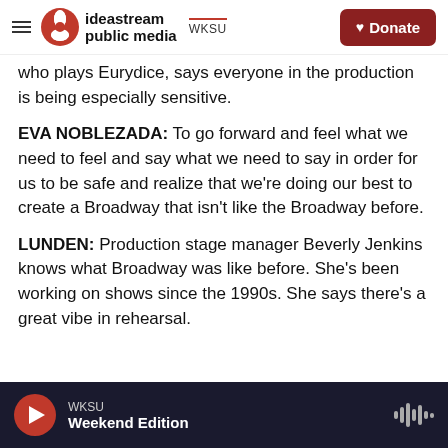ideastream public media | WKSU | Donate
who plays Eurydice, says everyone in the production is being especially sensitive.
EVA NOBLEZADA: To go forward and feel what we need to feel and say what we need to say in order for us to be safe and realize that we're doing our best to create a Broadway that isn't like the Broadway before.
LUNDEN: Production stage manager Beverly Jenkins knows what Broadway was like before. She's been working on shows since the 1990s. She says there's a great vibe in rehearsal.
WKSU | Weekend Edition